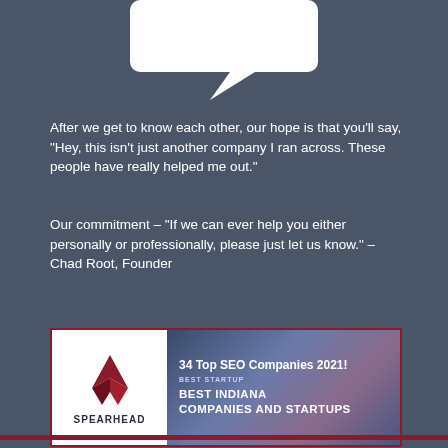[Figure (illustration): White speech bubble / chat bubble shape at the top of the page on a dark blue-grey background]
After we get to know each other, our hope is that you'll say, “Hey, this isn't just another company I ran across. These people have really helped me out.”
Our commitment – “If we can ever help you either personally or professionally, please just let us know.” – Chad Root, Founder
[Figure (logo): Spearhead logo on white background with red arrow/spearhead icon above the text SPEARHEAD, next to an award badge reading '34 Top SEO Companies 2021! BEST STARTUP BEST INDIANA COMPANIES AND STARTUPS' on a dark background with a landscape image]